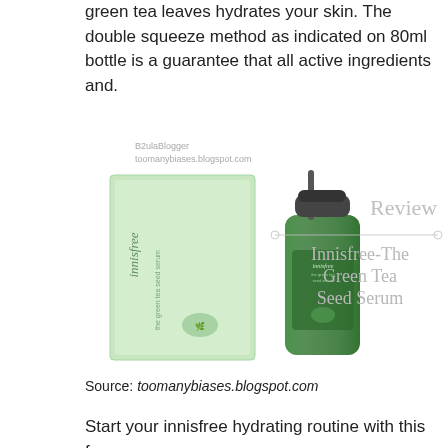green tea leaves hydrates your skin. The double squeeze method as indicated on 80ml bottle is a guarantee that all active ingredients and.
[Figure (photo): Photo of Innisfree The Green Tea Seed Serum product — a green bottle with pump dispenser next to its mint-green box packaging. Overlay text reads 'Review' and 'Innisfree-The Green Tea Seed Serum'. Watermark: B2ulaBlogger toomanybiases.blogspot.com]
Source: toomanybiases.blogspot.com
Start your innisfree hydrating routine with this foam